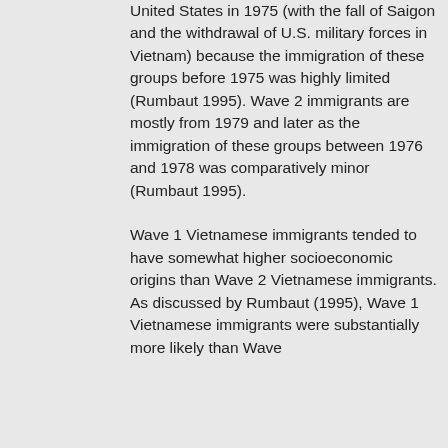United States in 1975 (with the fall of Saigon and the withdrawal of U.S. military forces in Vietnam) because the immigration of these groups before 1975 was highly limited (Rumbaut 1995). Wave 2 immigrants are mostly from 1979 and later as the immigration of these groups between 1976 and 1978 was comparatively minor (Rumbaut 1995).
Wave 1 Vietnamese immigrants tended to have somewhat higher socioeconomic origins than Wave 2 Vietnamese immigrants. As discussed by Rumbaut (1995), Wave 1 Vietnamese immigrants were substantially more likely than Wave